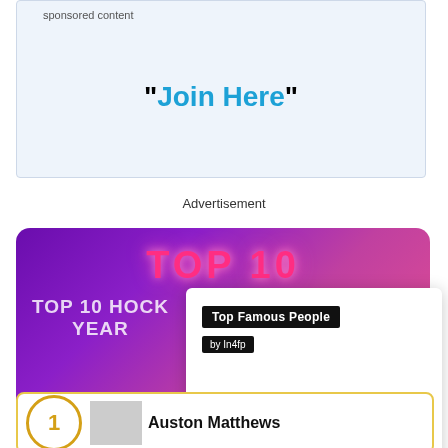sponsored content
"Join Here"
Advertisement
[Figure (infographic): TOP 10 banner with pink neon text on purple gradient background. Partially visible text: TOP 10 HOCK... YEAR ...]
[Figure (screenshot): Popup overlay panel showing 'Top Famous People by In4fp' branding, READ MORE button, and link text: Lee Asher - Bio, Age, Wiki, Facts and Family - in4fp.com]
Auston Matthews